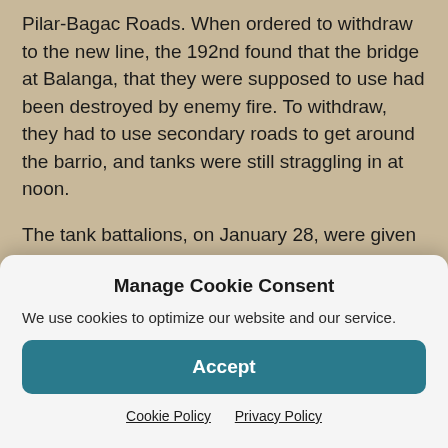Pilar-Bagac Roads. When ordered to withdraw to the new line, the 192nd found that the bridge at Balanga, that they were supposed to use had been destroyed by enemy fire. To withdraw, they had to use secondary roads to get around the barrio, and tanks were still straggling in at noon.
The tank battalions, on January 28, were given the job of protecting the beaches. The 192nd was assigned the coastline from Paden Point to Limay along Bataan's east coast, while the battalion's half-tracks were used to patrol
Manage Cookie Consent
We use cookies to optimize our website and our service.
Accept
Cookie Policy   Privacy Policy